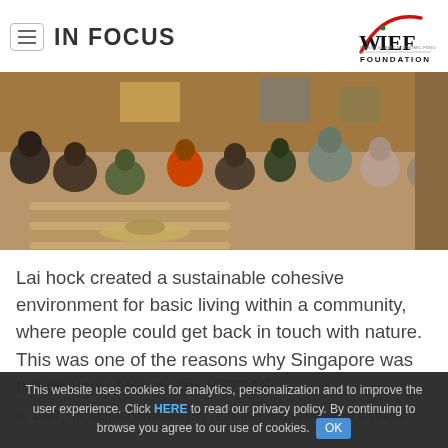IN FOCUS
[Figure (logo): WIEF Foundation logo — red arc on top, green dot, black lettering WIEF with Foundation below]
[Figure (photo): Group of people sitting in a circle on the floor in what appears to be a workshop or community space, having a discussion]
Lai hock created a sustainable cohesive environment for basic living within a community, where people could get back in touch with nature. This was one of the reasons why Singapore was the choice of locale for YF2016.
In 1997, the school side of Chip Tees inside has become a single...
This website uses cookies for analytics, personalization and to improve the user experience. Click HERE to read our privacy policy. By continuing to browse you agree to our use of cookies. OK